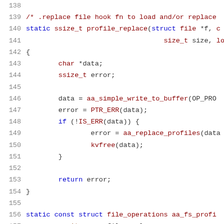[Figure (screenshot): Source code listing in C, lines 138-159 (partial), showing the profile_replace function and aa_fs_profile file_operations struct definition. Syntax highlighted with blue keywords, dark red types/functions, and dark text for general code.]